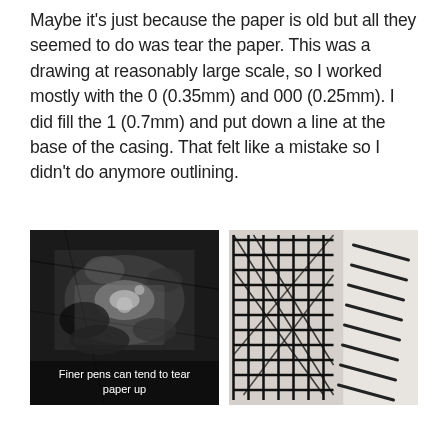Maybe it's just because the paper is old but all they seemed to do was tear the paper. This was a drawing at reasonably large scale, so I worked mostly with the 0 (0.35mm) and 000 (0.25mm). I did fill the 1 (0.7mm) and put down a line at the base of the casing. That felt like a mistake so I didn't do anymore outlining.
[Figure (photo): Close-up photo of torn paper caused by fine pen nibs, showing heavy ink damage and paper fibres torn up]
Finer pens can tend to tear paper up
[Figure (photo): Close-up photo of crosshatching and hatching patterns drawn in black ink on white paper]